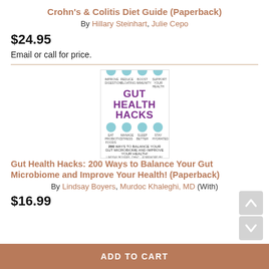Crohn's & Colitis Diet Guide (Paperback)
By Hillary Steinhart, Julie Cepo
$24.95
Email or call for price.
[Figure (photo): Book cover of 'Gut Health Hacks: 200 Ways to Balance Your Gut Microbiome and Improve Your Health!' by Lindsay Boyers, with Murdoc Khaleghi, MD. Cover shows purple bold title text with small circular icons.]
Gut Health Hacks: 200 Ways to Balance Your Gut Microbiome and Improve Your Health! (Paperback)
By Lindsay Boyers, Murdoc Khaleghi, MD (With)
$16.99
ADD TO CART